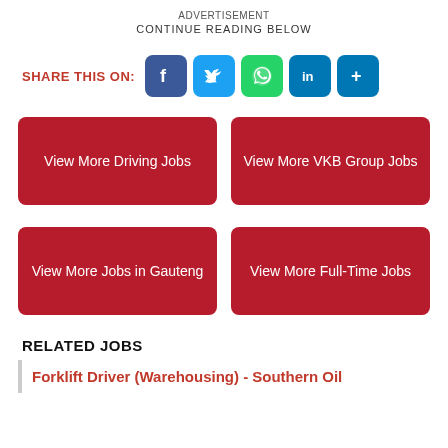ADVERTISEMENT
CONTINUE READING BELOW
SHARE THIS ON:
View More Driving Jobs
View More VKB Group Jobs
View More Jobs in Gauteng
View More Full-Time Jobs
RELATED JOBS
Forklift Driver (Warehousing) - Southern Oil